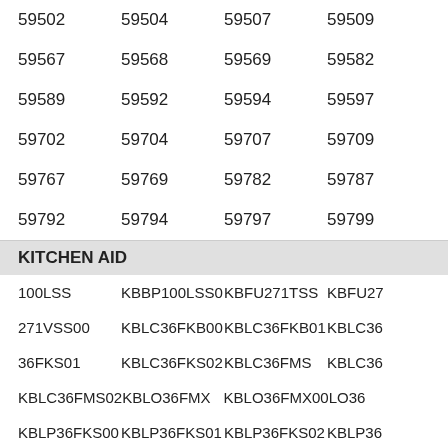59502  59504  59507  59509
59567  59568  59569  59582
59589  59592  59594  59597
59702  59704  59707  59709
59767  59769  59782  59787
59792  59794  59797  59799
KITCHEN AID
100LSS  KBBP100LSS0  KBFU271TSS  KBFU27
271VSS00  KBLC36FKB00  KBLC36FKB01  KBLC36
36FKS01  KBLC36FKS02  KBLC36FMS  KBLC36
KBLC36FMS02  KBLO36FMX  KBLO36FMX00  LO36
KBLP36FKS00  KBLP36FKS01  KBLP36FKS02  KBLP36